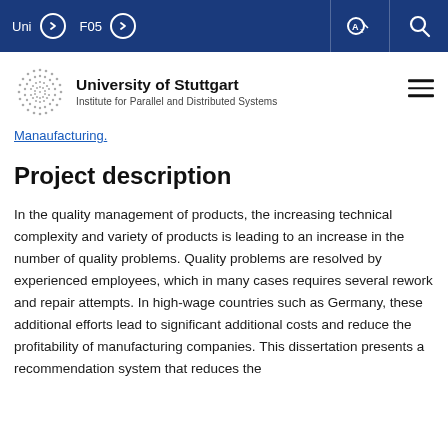Uni  F05
[Figure (logo): University of Stuttgart logo with dot pattern and text: University of Stuttgart, Institute for Parallel and Distributed Systems]
Manaufacturing.
Project description
In the quality management of products, the increasing technical complexity and variety of products is leading to an increase in the number of quality problems. Quality problems are resolved by experienced employees, which in many cases requires several rework and repair attempts. In high-wage countries such as Germany, these additional efforts lead to significant additional costs and reduce the profitability of manufacturing companies. This dissertation presents a recommendation system that reduces the